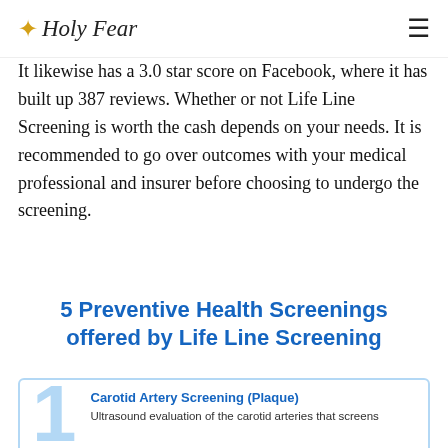Holy Fear
It likewise has a 3.0 star score on Facebook, where it has built up 387 reviews. Whether or not Life Line Screening is worth the cash depends on your needs. It is recommended to go over outcomes with your medical professional and insurer before choosing to undergo the screening.
5 Preventive Health Screenings offered by Life Line Screening
[Figure (infographic): Infographic item 1 - Carotid Artery Screening (Plaque): Ultrasound evaluation of the carotid arteries that screens]
Carotid Artery Screening (Plaque)
Ultrasound evaluation of the carotid arteries that screens